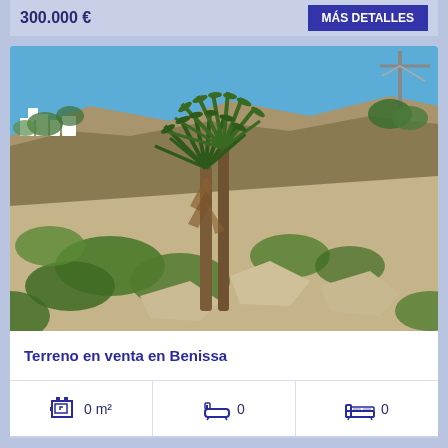300.000 €
MÁS DETALLES
[Figure (photo): Outdoor photo of a hillside plot with tall yucca/palm-like trees in the center, green scrubby vegetation, rocky soil, blue sky, white buildings visible on the left background, and a crane in the top-right corner. Location: Benissa, Spain.]
Terreno en venta en Benissa
0 m²
0
0
289.000 €
MÁS DETALLES